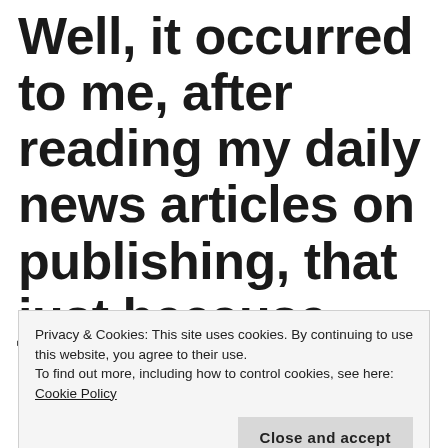Well, it occurred to me, after reading my daily news articles on publishing, that just because some little tricks have become second nature to me,
Privacy & Cookies: This site uses cookies. By continuing to use this website, you agree to their use. To find out more, including how to control cookies, see here: Cookie Policy
Close and accept
important tip on